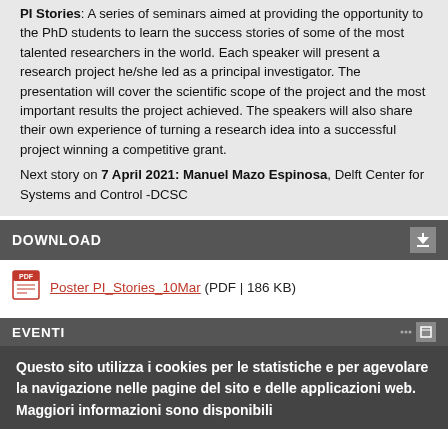PI Stories: A series of seminars aimed at providing the opportunity to the PhD students to learn the success stories of some of the most talented researchers in the world. Each speaker will present a research project he/she led as a principal investigator. The presentation will cover the scientific scope of the project and the most important results the project achieved. The speakers will also share their own experience of turning a research idea into a successful project winning a competitive grant.
Next story on 7 April 2021: Manuel Mazo Espinosa, Delft Center for Systems and Control -DCSC
DOWNLOAD
Poster PI_Stories_10Mar (PDF | 186 KB)
EVENTI
Questo sito utilizza i cookies per le statistiche e per agevolare la navigazione nelle pagine del sito e delle applicazioni web. Maggiori informazioni sono disponibili